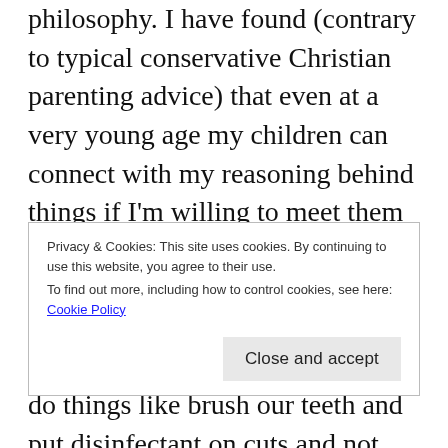philosophy. I have found (contrary to typical conservative Christian parenting advice) that even at a very young age my children can connect with my reasoning behind things if I'm willing to meet them at their level and connect with them relationally. I've tried to be more and more intentional about offering explanations for why we do things like brush our teeth and put disinfectant on cuts and not leave the living room strewn with toys,
Privacy & Cookies: This site uses cookies. By continuing to use this website, you agree to their use.
To find out more, including how to control cookies, see here: Cookie Policy
[Close and accept button]